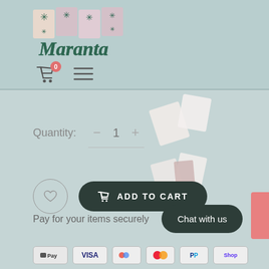[Figure (logo): Maranta brand logo with decorative plant card tiles and cursive green text 'Maranta']
[Figure (infographic): Shopping cart icon with badge showing 0, and hamburger menu icon]
Quantity:
− 1 +
[Figure (illustration): Floating tilted product card decorations]
[Figure (infographic): Wishlist heart button (circle) and Add to Cart button with cart icon]
ADD TO CART
Pay for your items securely
Chat with us
[Figure (infographic): Payment icons row: Apple Pay, Visa, Google Pay, Mastercard, PayPal, Shop Pay]